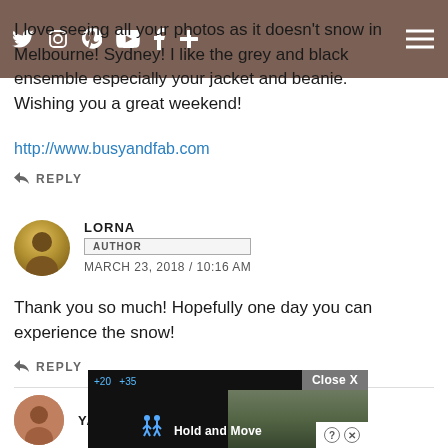Navigation icons: Twitter, Instagram, Pinterest, YouTube, Facebook, Plus, Hamburger menu
I love seeing all your photos as it doesn't snow in Melbourne! Sydney! I like the grey and black ensemble especially your jacket and beanie. Wishing you a great weekend!
http://www.busyandfab.com
REPLY
LORNA AUTHOR MARCH 23, 2018 / 10:16 AM
Thank you so much! Hopefully one day you can experience the snow!
REPLY
YASMIN
[Figure (screenshot): Advertisement overlay showing a mobile game 'Hold and Move' with dark background, score indicators, game icon, and a close X button. Background shows a nature/outdoor photo.]